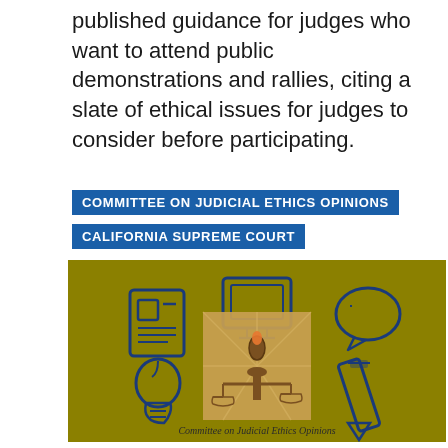published guidance for judges who want to attend public demonstrations and rallies, citing a slate of ethical issues for judges to consider before participating.
COMMITTEE ON JUDICIAL ETHICS OPINIONS
CALIFORNIA SUPREME COURT
[Figure (illustration): Committee on Judicial Ethics Opinions logo image on olive/gold background featuring icons: document, computer monitor, speech bubble, light bulb, scales of justice with lamp, and pencil. Text at bottom reads 'Committee on Judicial Ethics Opinions'.]